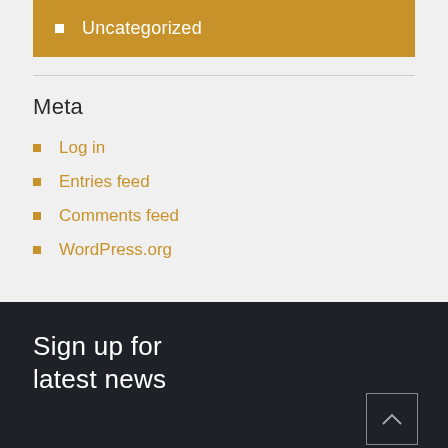Uncategorized
Meta
Log in
Entries feed
Comments feed
WordPress.org
Sign up for latest news